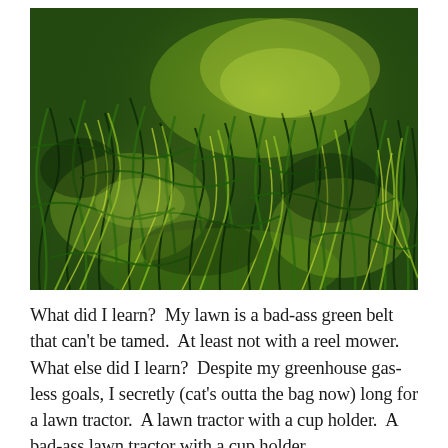[Figure (photo): Close-up photograph of dense green grass lawn, shot from a low angle showing tangled green grass blades with patches of sunlight and shadow.]
What did I learn?  My lawn is a bad-ass green belt that can't be tamed.  At least not with a reel mower.  What else did I learn?  Despite my greenhouse gas-less goals, I secretly (cat's outta the bag now) long for a lawn tractor.  A lawn tractor with a cup holder.  A bad-ass lawn tractor with a cup holder.